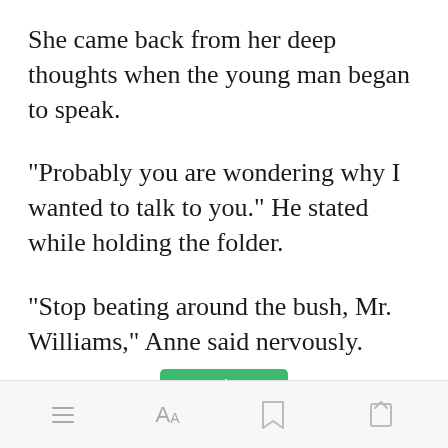She came back from her deep thoughts when the young man began to speak.
"Probably you are wondering why I wanted to talk to you." He stated while holding the folder.
"Stop beating around the bush, Mr. Williams," Anne said nervously.
[Figure (other): Green 'Open in app' button]
Bottom navigation bar with menu, font size, bookmark, and share icons